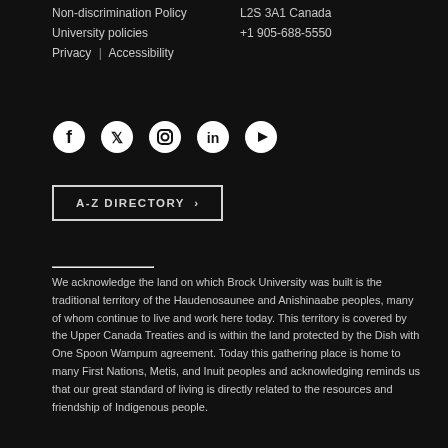Non-discrimination Policy
University policies
Privacy  |  Accessibility
L2S 3A1 Canada
+1 905-688-5550
[Figure (infographic): Social media icons row: Facebook, Twitter, Instagram, LinkedIn, YouTube]
A-Z DIRECTORY  ›
We acknowledge the land on which Brock University was built is the traditional territory of the Haudenosaunee and Anishinaabe peoples, many of whom continue to live and work here today. This territory is covered by the Upper Canada Treaties and is within the land protected by the Dish with One Spoon Wampum agreement. Today this gathering place is home to many First Nations, Metis, and Inuit peoples and acknowledging reminds us that our great standard of living is directly related to the resources and friendship of Indigenous people.